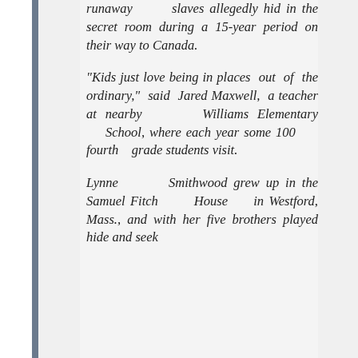runaway slaves allegedly hid in the secret room during a 15-year period on their way to Canada.
“Kids just love being in places out of the ordinary,” said Jared Maxwell, a teacher at nearby Williams Elementary School, where each year some 100 fourth grade students visit.
Lynne Smithwood grew up in the Samuel Fitch House in Westford, Mass., and with her five brothers played hide and seek